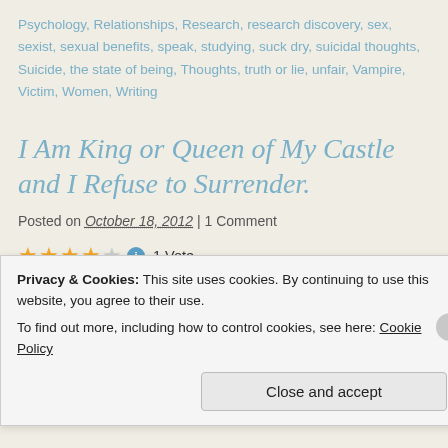Psychology, Relationships, Research, research discovery, sex, sexist, sexual benefits, speak, studying, suck dry, suicidal thoughts, Suicide, the state of being, Thoughts, truth or lie, unfair, Vampire, Victim, Women, Writing
I Am King or Queen of My Castle and I Refuse to Surrender.
Posted on October 18, 2012 | 1 Comment
★★★★☆ ℹ 1 Vote
A friend of mine has recently suspended her Facebook account:
Privacy & Cookies: This site uses cookies. By continuing to use this website, you agree to their use. To find out more, including how to control cookies, see here: Cookie Policy
Close and accept